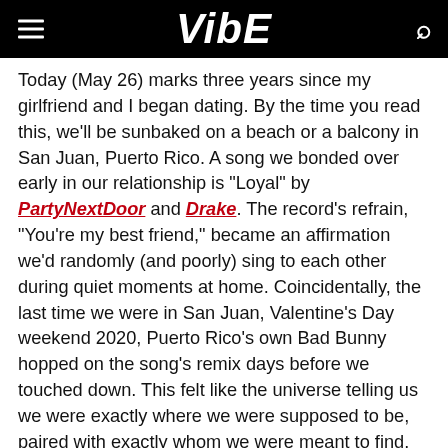VIBE
Today (May 26) marks three years since my girlfriend and I began dating. By the time you read this, we’ll be sunbaked on a beach or a balcony in San Juan, Puerto Rico. A song we bonded over early in our relationship is “Loyal” by PartyNextDoor and Drake. The record’s refrain, “You’re my best friend,” became an affirmation we’d randomly (and poorly) sing to each other during quiet moments at home. Coincidentally, the last time we were in San Juan, Valentine’s Day weekend 2020, Puerto Rico’s own Bad Bunny hopped on the song’s remix days before we touched down. This felt like the universe telling us we were exactly where we were supposed to be, paired with exactly whom we were meant to find.